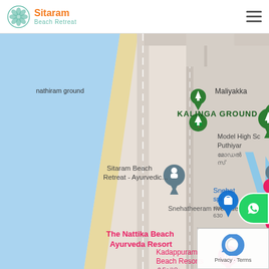[Figure (logo): Sitaram Beach Retreat logo with orange text and teal subtitle, circular mandala icon]
[Figure (map): Google Maps screenshot showing Sitaram Beach Retreat - Ayurvedic location near Nattika Beach, Kerala, India. Map shows beach coastline, Kalinga Ground, Snehatheeram riverside, The Nattika Beach Ayurveda Resort, Kadappuram Beach Resorts, and other local landmarks.]
[Figure (other): WhatsApp contact button (green circle) on right edge of screen]
[Figure (other): Google reCAPTCHA privacy badge in bottom right corner with Privacy · Terms text]